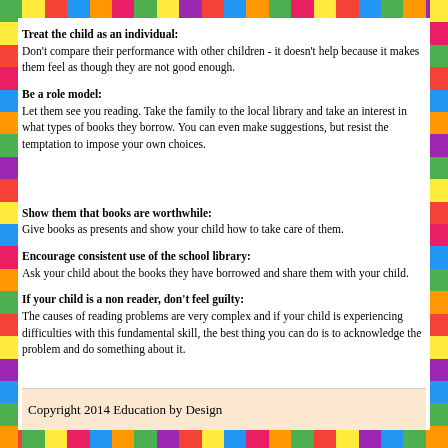Treat the child as an individual:
Don't compare their performance with other children - it doesn't help because it makes them feel as though they are not good enough.
Be a role model:
Let them see you reading. Take the family to the local library and take an interest in what types of books they borrow. You can even make suggestions, but resist the temptation to impose your own choices.
Show them that books are worthwhile:
Give books as presents and show your child how to take care of them.
Encourage consistent use of the school library:
Ask your child about the books they have borrowed and share them with your child.
If your child is a non reader, don't feel guilty:
The causes of reading problems are very complex and if your child is experiencing difficulties with this fundamental skill, the best thing you can do is to acknowledge the problem and do something about it.
Copyright 2014 Education by Design